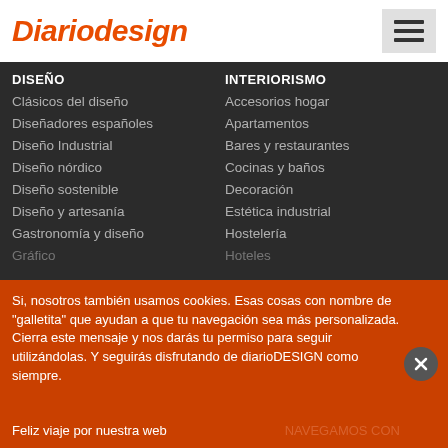Diariodesign
DISEÑO
Clásicos del diseño
Diseñadores españoles
Diseño Industrial
Diseño nórdico
Diseño sostenible
Diseño y artesanía
Gastronomía y diseño
Gráfico
INTERIORISMO
Accesorios hogar
Apartamentos
Bares y restaurantes
Cocinas y baños
Decoración
Estética industrial
Hostelería
Hoteles
Si, nosotros también usamos cookies. Esas cosas con nombre de "galletita" que ayudan a que tu navegación sea más personalizada. Cierra este mensaje y nos darás tu permiso para seguir utilizándolas. Y seguirás disfrutando de diarioDESIGN como siempre.
Feliz viaje por nuestra web
NAVEGAMOS CON